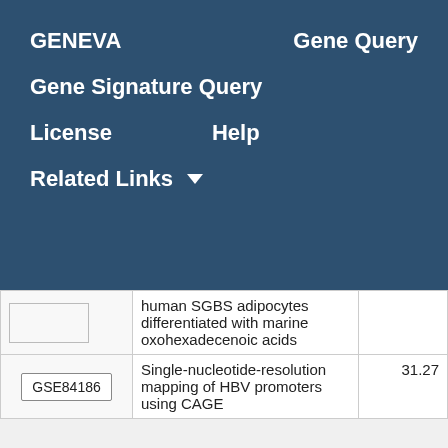GENEVA   Gene Query
Gene Signature Query
License   Help
Related Links ▾
|  | Description | Score |
| --- | --- | --- |
|  | human SGBS adipocytes differentiated with marine oxohexadecenoic acids |  |
| GSE84186 | Single-nucleotide-resolution mapping of HBV promoters using CAGE | 31.27 |